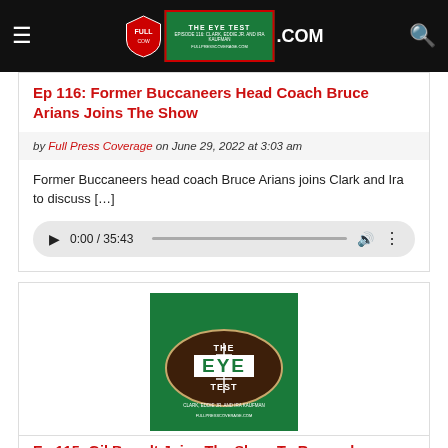Full Press Coverage - fullpresscoverage.com
Ep 116: Former Buccaneers Head Coach Bruce Arians Joins The Show
by Full Press Coverage on June 29, 2022 at 3:03 am
Former Buccaneers head coach Bruce Arians joins Clark and Ira to discuss […]
[Figure (other): Audio player showing 0:00 / 35:43 with play button, progress bar, volume icon, and more options icon]
[Figure (photo): The Eye Test podcast cover art - green background with football design, text: THE EYE TEST, with Clark Eddie Jr. and Ira Kaufman]
Ep 115: Gil Brandt Joins The Show To Remember Cowboys